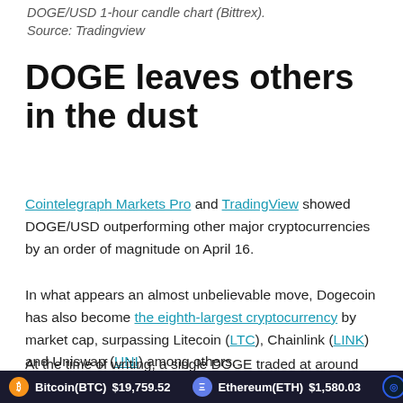DOGE/USD 1-hour candle chart (Bittrex). Source: Tradingview
DOGE leaves others in the dust
Cointelegraph Markets Pro and TradingView showed DOGE/USD outperforming other major cryptocurrencies by an order of magnitude on April 16.
In what appears an almost unbelievable move, Dogecoin has also become the eighth-largest cryptocurrency by market cap, surpassing Litecoin (LTC), Chainlink (LINK) and Uniswap (UNI) among others.
At the time of writing, a single DOGE traded at around $0.25. Gains on any timeframe remained beyond
Bitcoin(BTC) $19,759.52   Ethereum(ETH) $1,580.03   Caro